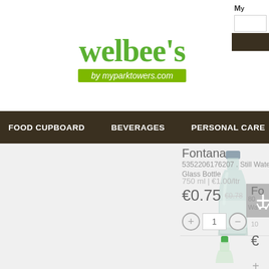[Figure (logo): Welbee's logo with tagline 'by myparktowers.com' on green background]
FOOD CUPBOARD  BEVERAGES  PERSONAL CARE  HOUSEHOLD
[Figure (photo): Fontana Still Water Glass Bottle 750ml product image]
Fontana
5352206176207 . Still Water Glass Bottle
750 ml | €1.00/ltr
€0.75
€0.78
[Figure (screenshot): Bottom of page showing another water bottle (green cap)]